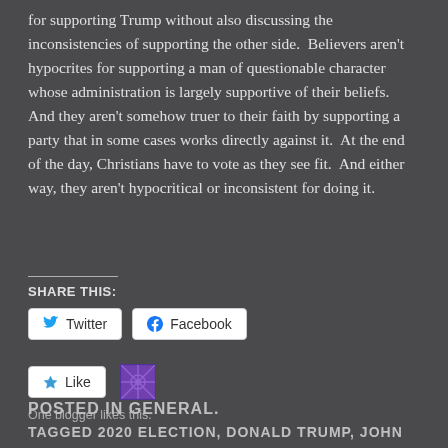for supporting Trump without also discussing the inconsistencies of supporting the other side.  Believers aren't hypocrites for supporting a man of questionable character whose administration is largely supportive of their beliefs.  And they aren't somehow truer to their faith by supporting a party that in some cases works directly against it.  At the end of the day, Christians have to vote as they see fit.  And either way, they aren't hypocritical or inconsistent for doing it.
SHARE THIS:
[Figure (screenshot): Twitter and Facebook share buttons, a Like button with a star icon, and a blogger avatar icon]
One blogger likes this.
POSTED IN GENERAL.
TAGGED 2020 ELECTION, DONALD TRUMP, JOHN